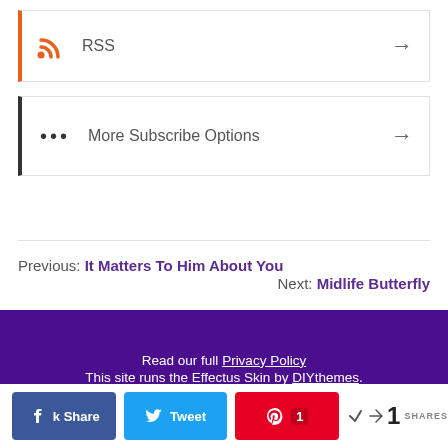RSS →
More Subscribe Options →
Previous: It Matters To Him About You   Next: Midlife Butterfly
Read our full Privacy Policy
This site runs the Effectus Skin by DIYthemes.
© 2015 – 2022 Gene A. Ziemke
< 1 SHARES (Facebook, Twitter, Pinterest share bar)